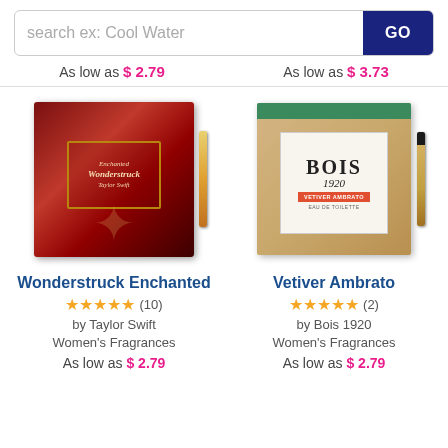search ex: Cool Water
As low as $ 2.79
As low as $ 3.73
[Figure (photo): Wonderstruck Enchanted by Taylor Swift perfume sample vial with red ornate box]
[Figure (photo): Vetiver Ambrato by Bois 1920 perfume sample vial with cream and gold box with green top]
Wonderstruck Enchanted
★★★★★ (10)
by Taylor Swift
Women's Fragrances
As low as $ 2.79
Vetiver Ambrato
★★★★★ (2)
by Bois 1920
Women's Fragrances
As low as $ 2.79